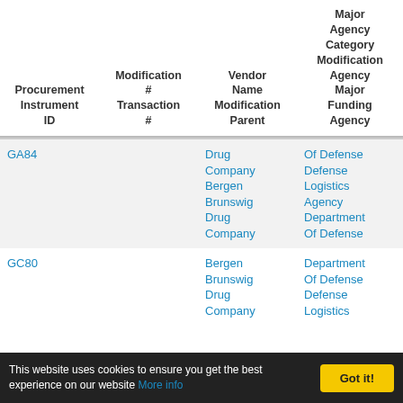| Procurement Instrument ID | Modification # Transaction # | Vendor Name Modification Parent | Major Agency Category Modification Agency Major Funding Agency | Product Service Code |
| --- | --- | --- | --- | --- |
| GA84 |  | Drug Company Bergen Brunswig Drug Company | Of Defense Defense Logistics Agency Department Of Defense | 6505: Drugs And Biologicals |
| GC80 |  | Bergen Brunswig Drug Company | Department Of Defense Defense Logistics Agency ... | 6505: Drugs And |
This website uses cookies to ensure you get the best experience on our website More info